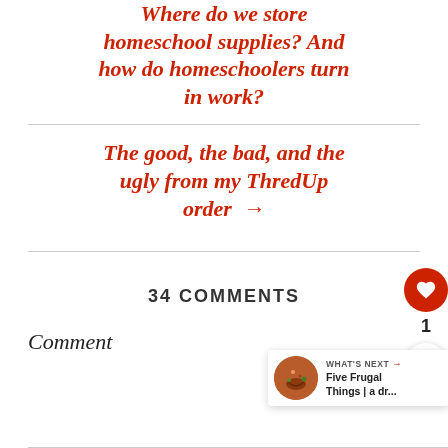Where do we store homeschool supplies? And how do homeschoolers turn in work?
The good, the bad, and the ugly from my ThredUp order →
34 COMMENTS
Comment
[Figure (other): Floating action bar with heart/like button showing count 1 and share button]
[Figure (other): What's Next banner with thumbnail image and text 'Five Frugal Things | a dr...']